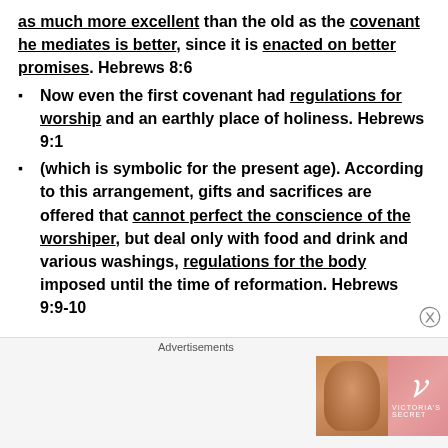as much more excellent than the old as the covenant he mediates is better, since it is enacted on better promises. Hebrews 8:6
Now even the first covenant had regulations for worship and an earthly place of holiness. Hebrews 9:1
(which is symbolic for the present age). According to this arrangement, gifts and sacrifices are offered that cannot perfect the conscience of the worshiper, but deal only with food and drink and various washings, regulations for the body imposed until the time of reformation. Hebrews 9:9-10
[Figure (other): Victoria's Secret advertisement banner with a woman's photo, VS logo, 'SHOP THE COLLECTION' text, and 'SHOP NOW' button]